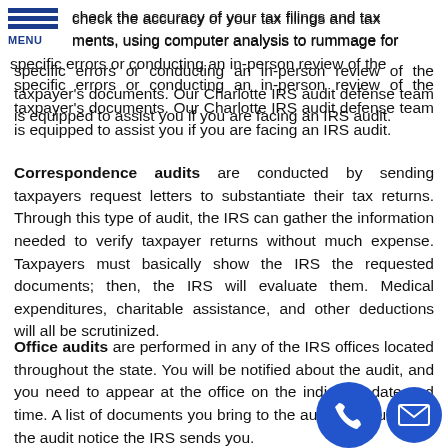MENU
check the accuracy of your tax filings and tax ments, using computer analysis to rummage for specific errors or conducting an in-person review of the taxpayer's documents. Our Charlotte IRS audit defense team is equipped to assist you if you are facing an IRS audit.
Correspondence audits are conducted by sending taxpayers request letters to substantiate their tax returns. Through this type of audit, the IRS can gather the information needed to verify taxpayer returns without much expense. Taxpayers must basically show the IRS the requested documents; then, the IRS will evaluate them. Medical expenditures, charitable assistance, and other deductions will all be scrutinized.
Office audits are performed in any of the IRS offices located throughout the state. You will be notified about the audit, and you need to appear at the office on the indicated date and time. A list of documents you bring to the audit is included on the audit notice the IRS sends you.